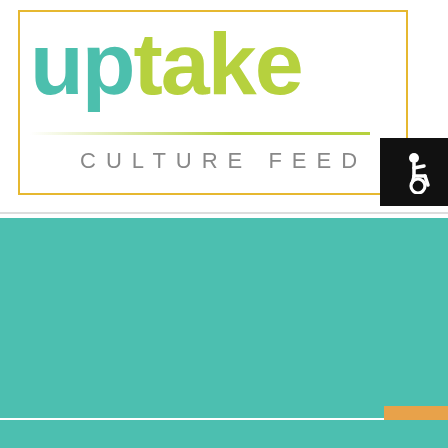[Figure (logo): Uptake Culture Feed logo with teal 'up' and lime-green 'take' text, yellow-green horizontal rule, and 'CULTURE FEED' subtitle in grey spaced caps, inside a gold/orange border rectangle]
[Figure (infographic): Teal banner with three person silhouette icons (two teal, one lime-green center) and white text reading 'In-Person Events']
[Figure (illustration): Black square with white wheelchair accessibility icon in top-right of logo area]
[Figure (illustration): Orange square with white upward arrow in bottom-right corner (scroll to top button)]